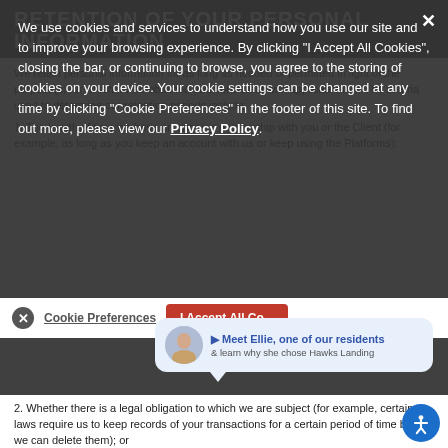RETENTION OF YOUR PERSONAL INFORMATION
We retain personal information for as long as needed or permitted in light of the purpose(s) for which it was obtained and consistent with applicable law. The criteria used to determine our retention periods include:
1. The length of time we have an ongoing relationship with you or the Client (for example, as long as you keep an account with us or keep using the Platforms);
2. Whether there is a legal obligation to which we are subject (for example, certain laws require us to keep records of your transactions for a certain period of time before we can delete them); or
3. Whether retention is advisable in light of our legal position
[Figure (screenshot): Cookie consent overlay with text: We use cookies and services to understand how you use our site and to improve your browsing experience. By clicking "I Accept All Cookies", closing the bar, or continuing to browse, you agree to the storing of cookies on your device. Your cookie settings can be changed at any time by clicking "Cookie Preferences" in the footer of this site. To find out more, please view our Privacy Policy. Also contains Cookie Preferences bar, I Accept All Cookies button, and Meet Ellie promotional popup.]